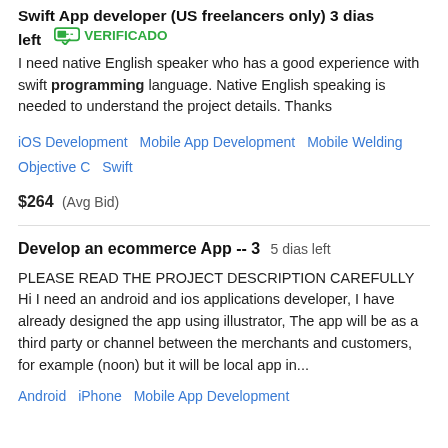Swift App developer (US freelancers only) 3 dias left
VERIFICADO
I need native English speaker who has a good experience with swift programming language. Native English speaking is needed to understand the project details. Thanks
iOS Development   Mobile App Development   Mobile Welding   Objective C   Swift
$264  (Avg Bid)
Develop an ecommerce App -- 3   5 dias left
PLEASE READ THE PROJECT DESCRIPTION CAREFULLY Hi I need an android and ios applications developer, I have already designed the app using illustrator, The app will be as a third party or channel between the merchants and customers, for example (noon) but it will be local app in...
Android   iPhone   Mobile App Development